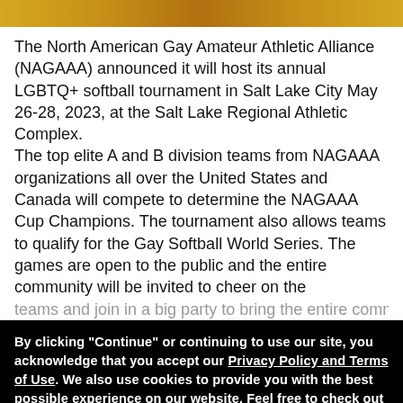[Figure (photo): Photo strip at top of page showing people, partially visible]
The North American Gay Amateur Athletic Alliance (NAGAAA) announced it will host its annual LGBTQ+ softball tournament in Salt Lake City May 26-28, 2023, at the Salt Lake Regional Athletic Complex. The top elite A and B division teams from NAGAAA organizations all over the United States and Canada will compete to determine the NAGAAA Cup Champions. The tournament also allows teams to qualify for the Gay Softball World Series. The games are open to the public and the entire community will be invited to cheer on the teams and join in a big party to bring the entire community
By clicking "Continue" or continuing to use our site, you acknowledge that you accept our Privacy Policy and Terms of Use. We also use cookies to provide you with the best possible experience on our website. Feel free to check out our policies anytime for more information.
Continue